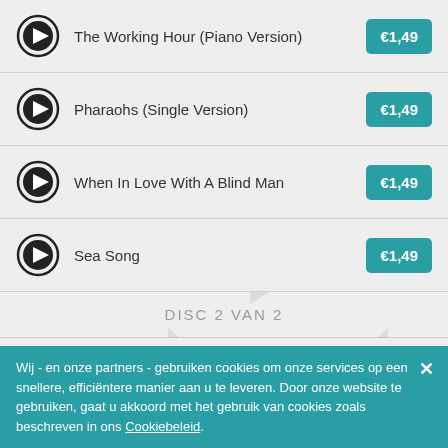The Working Hour (Piano Version) €1,49
Pharaohs (Single Version) €1,49
When In Love With A Blind Man €1,49
Sea Song €1,49
DISC 2 VAN 2
The Way You Are €1,49
Wij - en onze partners - gebruiken cookies om onze services op een snellere, efficiëntere manier aan u te leveren. Door onze website te gebruiken, gaat u akkoord met het gebruik van cookies zoals beschreven in ons Cookiebeleid.